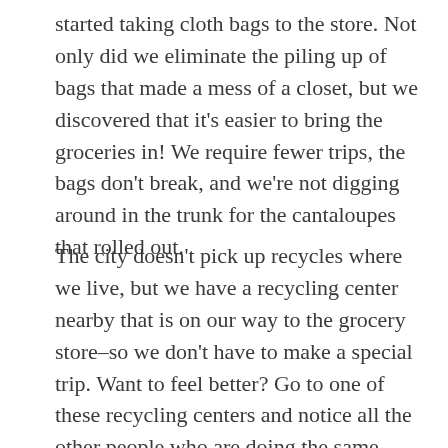started taking cloth bags to the store. Not only did we eliminate the piling up of bags that made a mess of a closet, but we discovered that it's easier to bring the groceries in! We require fewer trips, the bags don't break, and we're not digging around in the trunk for the cantaloupes that rolled out.
The city doesn't pick up recycles where we live, but we have a recycling center nearby that is on our way to the grocery store–so we don't have to make a special trip. Want to feel better? Go to one of these recycling centers and notice all the other people who are doing the same thing. Sometimes we have trouble finding a parking spot on the weekend.